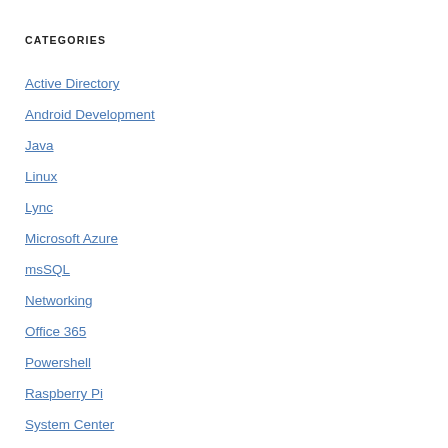CATEGORIES
Active Directory
Android Development
Java
Linux
Lync
Microsoft Azure
msSQL
Networking
Office 365
Powershell
Raspberry Pi
System Center
Ubuntu
Uncategorized
VMware
Web Development